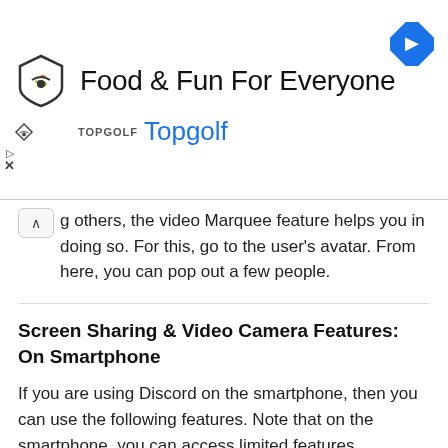[Figure (other): Topgolf advertisement banner with logo, title 'Food & Fun For Everyone', brand name 'Topgolf', navigation arrow icon, play and close controls]
g others, the video Marquee feature helps you in doing so. For this, go to the user's avatar. From here, you can pop out a few people.
Screen Sharing & Video Camera Features: On Smartphone
If you are using Discord on the smartphone, then you can use the following features. Note that on the smartphone, you can access limited features compared to the pc.
Toggle Mute:
You can mute the surrounding sound and background